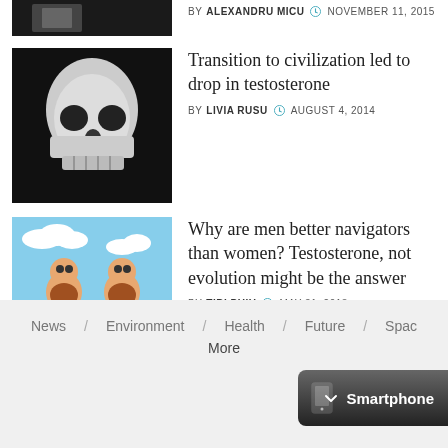[Figure (photo): Small dark thumbnail showing a building/monument, partially visible at top]
BY ALEXANDRU MICU  NOVEMBER 11, 2015
[Figure (photo): Black and white photo of a human skull]
Transition to civilization led to drop in testosterone
BY LIVIA RUSU  AUGUST 4, 2014
[Figure (illustration): Cartoon of two cavemen sitting outdoors]
Why are men better navigators than women? Testosterone, not evolution might be the answer
BY TIBI PUIU  MAY 31, 2018
News / Environment / Health / Future / Space / ... More